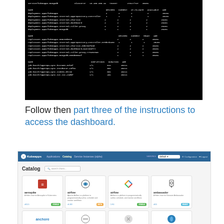[Figure (screenshot): Terminal/command-line screenshot on black background showing kubectl output with NAME, DESIRED, CURRENT, UP-TO-DATE, AVAILABLE, AGE columns for deployments, replicasets, and jobs related to kubeapps]
Follow then part three of the instructions to access the dashboard.
[Figure (screenshot): Kubeapps dashboard UI showing the Catalog page with application cards including aerospike, airflow, airflow, ambassador, anchore-engine, apache, apms-server, atlantis]